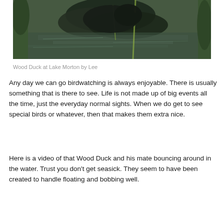[Figure (photo): Photograph of a Wood Duck at Lake Morton, showing the duck among rocks and water with green vegetation, taken by Lee]
Wood Duck at Lake Morton by Lee
Any day we can go birdwatching is always enjoyable. There is usually something that is there to see. Life is not made up of big events all the time, just the everyday normal sights. When we do get to see special birds or whatever, then that makes them extra nice.
Here is a video of that Wood Duck and his mate bouncing around in the water. Trust you don't get seasick. They seem to have been created to handle floating and bobbing well.